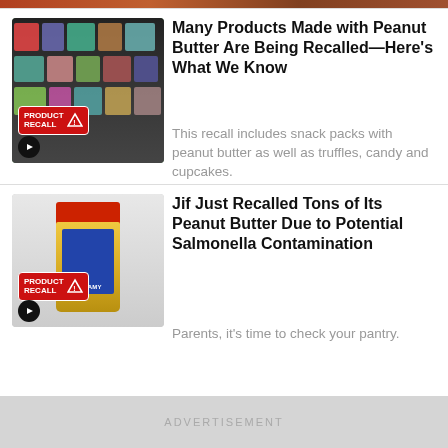[Figure (photo): Grocery store shelf with packaged foods showing PRODUCT RECALL badge overlay]
Many Products Made with Peanut Butter Are Being Recalled—Here's What We Know
This recall includes snack packs with peanut butter as well as truffles, candy and cupcakes.
[Figure (photo): Jif creamy peanut butter jar with red lid showing PRODUCT RECALL badge overlay]
Jif Just Recalled Tons of Its Peanut Butter Due to Potential Salmonella Contamination
Parents, it's time to check your pantry.
ADVERTISEMENT